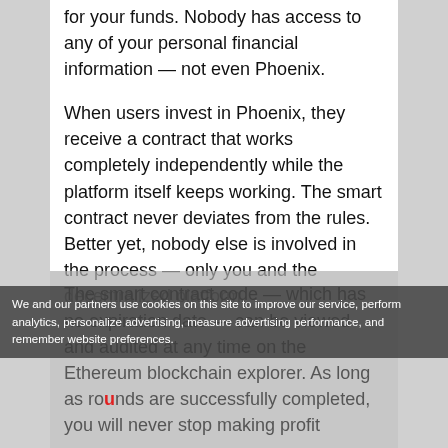for your funds. Nobody has access to any of your personal financial information — not even Phoenix.
When users invest in Phoenix, they receive a contract that works completely independently while the platform itself keeps working. The smart contract never deviates from the rules. Better yet, nobody else is involved in the process — only you and the decentralized platform.
The smart contract code — which has no expiration date — can be viewed and audited at any time on the Ethereum blockchain explorer. As long as rounds are successfully completed, you will never stop making profit
We and our partners use cookies on this site to improve our service, perform analytics, personalize advertising, measure advertising performance, and remember website preferences.